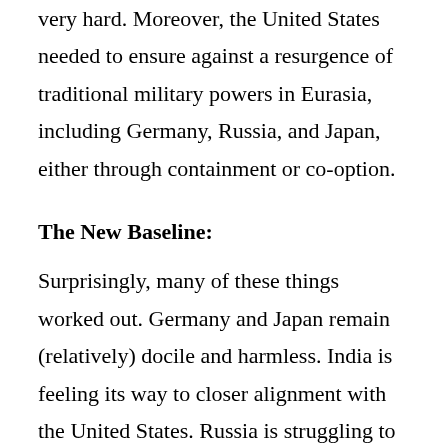very hard. Moreover, the United States needed to ensure against a resurgence of traditional military powers in Eurasia, including Germany, Russia, and Japan, either through containment or co-option.
The New Baseline:
Surprisingly, many of these things worked out. Germany and Japan remain (relatively) docile and harmless. India is feeling its way to closer alignment with the United States. Russia is struggling to maintain control over borderlands that it had ruled for centuries prior to 1990. Even China, which has enjoyed nearly uninterrupted high economic growth (at least until a few weeks